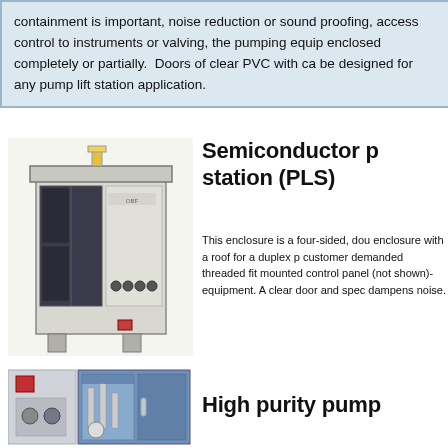containment is important, noise reduction or sound proofing, access control to instruments or valving, the pumping equipment may be enclosed completely or partially. Doors of clear PVC with cam locks can be designed for any pump lift station application.
[Figure (photo): Semiconductor pump lift station enclosure - a four-sided metal enclosure with roof, vents, and clear door]
Semiconductor pump lift station (PLS)
This enclosure is a four-sided, double-wall enclosure with a roof for a duplex pump station with customer demanded threaded fittings, a side mounted control panel (not shown), and other equipment. A clear door and special lining dampens noise.
[Figure (photo): High purity pump station enclosure - blue interior with plumbing components, control panel visible]
High purity pump